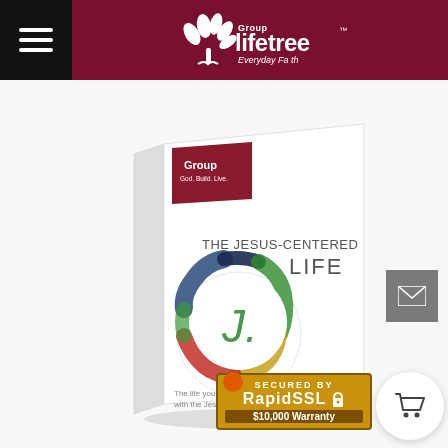Group Lifetree — Everyday Faith
[Figure (photo): Book cover of 'The Jesus-Centered Life' published by Group, featuring a colorful circular brushstroke design with a 'J.' in the center. The subtitle reads: 'The life you didn't think w[as possible] with the Jesus you[r...]']
[Figure (logo): RapidSSL Secured By badge — $10,000 Warranty]